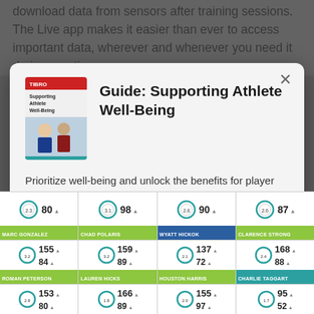download data from sensors after training sessions. The Live app makes it easier than ever to access important data, wherever and whenever you need it during practice.
[Figure (screenshot): Modal popup card with book cover image for 'Guide: Supporting Athlete Well-Being', descriptive text, and a red download button]
Guide: Supporting Athlete Well-Being
Prioritize well-being and unlock the benefits for player and team.
Download free guide here
[Figure (screenshot): Athlete performance dashboard grid showing player metrics with circular dials and numeric values for multiple athletes including MARC GONZALEZ, CHAD POLARIS, WYATT HICKOK, CLARENCE STRONG, ROMAN PETERSON, LAUREN HICKS, HOUSTON HARRIS, CHARLIE TAGGART]